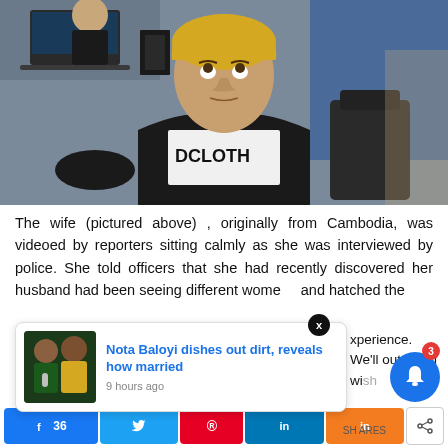[Figure (photo): A young woman with blonde dyed hair wearing a white graphic t-shirt (reading ODCLOTH) and black cardigan, sitting in what appears to be a police interview room. She is looking upward. Office furniture and another person visible in background.]
The wife (pictured above) , originally from Cambodia, was videoed by reporters sitting calmly as she was interviewed by police. She told officers that she had recently discovered her husband had been seeing different women and hatched the [plan...]
[Figure (screenshot): Notification popup showing article: 'Nota Baloyi dishes out dirt, reveals how married' with thumbnail image of two people, timestamp '9 hours ago'. Close X button overlay. Blue notification bell with badge count 3.]
xperience. We'll out if you wish
36 shares social share bar with Facebook, Twitter, Pinterest, LinkedIn, and other share buttons